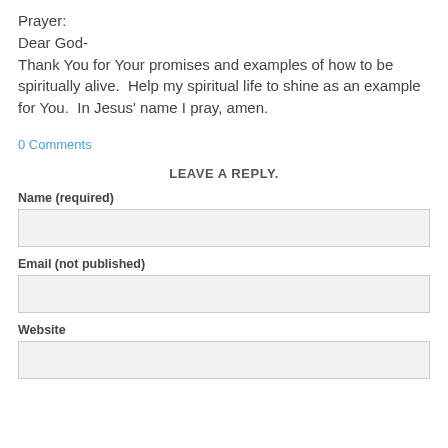Prayer:
Dear God-
Thank You for Your promises and examples of how to be spiritually alive.  Help my spiritual life to shine as an example for You.  In Jesus' name I pray, amen.
0 Comments
LEAVE A REPLY.
Name (required)
Email (not published)
Website